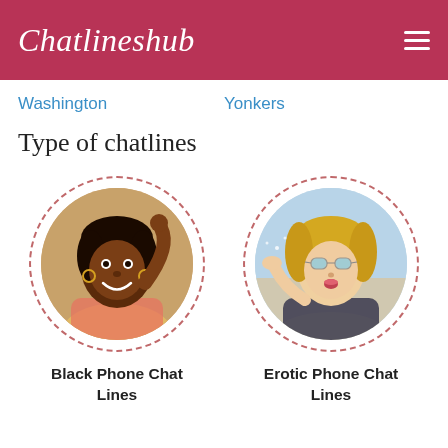Chatlineshub
Washington
Yonkers
Type of chatlines
[Figure (photo): Circular photo of a smiling Black woman with hoop earrings, wearing a colorful bikini top, hand raised to her hair]
Black Phone Chat Lines
[Figure (photo): Circular photo of a blonde woman wearing sunglasses, blowing a kiss toward the camera, at a beach]
Erotic Phone Chat Lines